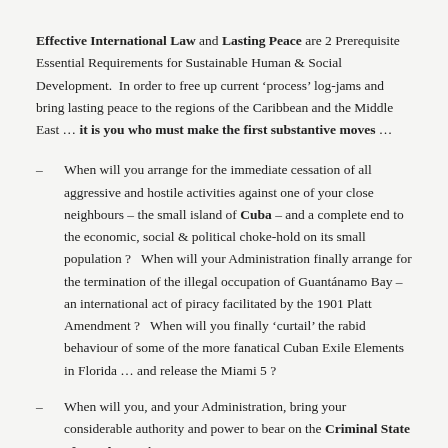Effective International Law and Lasting Peace are 2 Prerequisite Essential Requirements for Sustainable Human & Social Development.  In order to free up current ‘process’ log-jams and bring lasting peace to the regions of the Caribbean and the Middle East … it is you who must make the first substantive moves …
When will you arrange for the immediate cessation of all aggressive and hostile activities against one of your close neighbours – the small island of Cuba – and a complete end to the economic, social & political choke-hold on its small population ?   When will your Administration finally arrange for the termination of the illegal occupation of Guantánamo Bay – an international act of piracy facilitated by the 1901 Platt Amendment ?   When will you finally ‘curtail’ the rabid behaviour of some of the more fanatical Cuban Exile Elements in Florida … and release the Miami 5 ?
When will you, and your Administration, bring your considerable authority and power to bear on the Criminal State of Israel … and